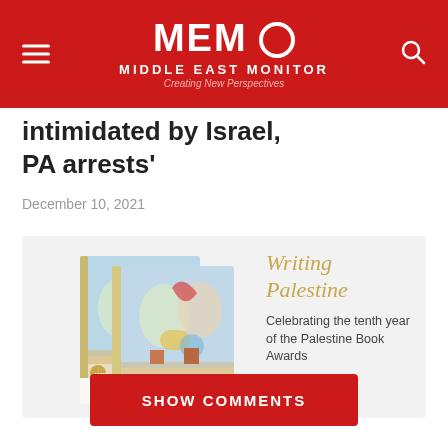MEMO MIDDLE EAST MONITOR — Creating New Perspectives
intimidated by Israel, PA arrests'
December 10, 2021
[Figure (illustration): Writing Palestine book advertisement showing two books with colorful abstract cover art. Text reads: Writing Palestine — Celebrating the tenth year of the Palestine Book Awards — Order Now]
SHOW COMMENTS